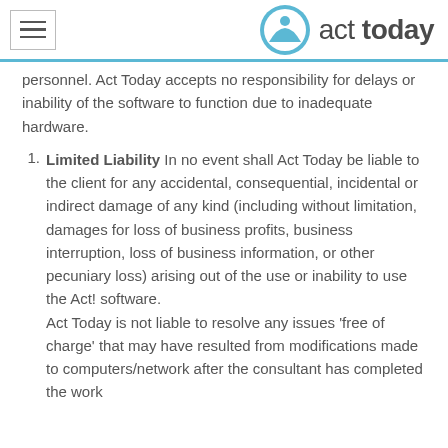act today
personnel. Act Today accepts no responsibility for delays or inability of the software to function due to inadequate hardware.
Limited Liability In no event shall Act Today be liable to the client for any accidental, consequential, incidental or indirect damage of any kind (including without limitation, damages for loss of business profits, business interruption, loss of business information, or other pecuniary loss) arising out of the use or inability to use the Act! software. Act Today is not liable to resolve any issues 'free of charge' that may have resulted from modifications made to computers/network after the consultant has completed the work